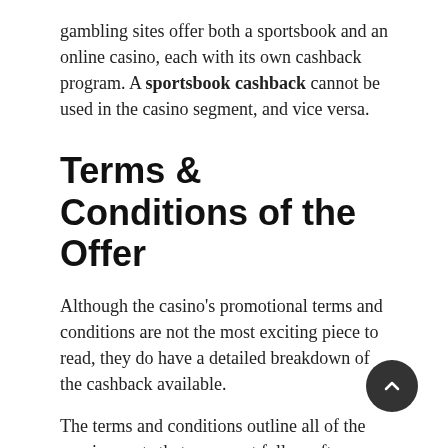gambling sites offer both a sportsbook and an online casino, each with its own cashback program. A sportsbook cashback cannot be used in the casino segment, and vice versa.
Terms & Conditions of the Offer
Although the casino's promotional terms and conditions are not the most exciting piece to read, they do have a detailed breakdown of the cashback available.
The terms and conditions outline all of the requirements that you must follow after opting in for a particular perk. Bear in mind that if you viol the promotion rules, the casino will cancel your reward.